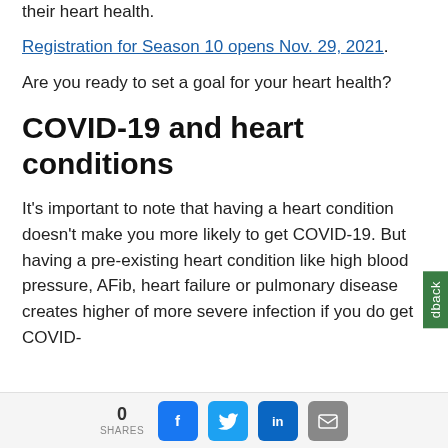their heart health.
Registration for Season 10 opens Nov. 29, 2021.
Are you ready to set a goal for your heart health?
COVID-19 and heart conditions
It's important to note that having a heart condition doesn't make you more likely to get COVID-19. But having a pre-existing heart condition like high blood pressure, AFib, heart failure or pulmonary disease creates higher of more severe infection if you do get COVID-
0 SHARES